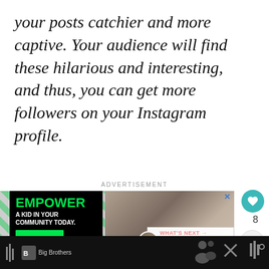your posts catchier and more captive. Your audience will find these hilarious and interesting, and thus, you can get more followers on your Instagram profile.
ADVERTISEMENT
[Figure (screenshot): Advertisement banner showing: left side black box with green 'EMPOWER' text and 'A KID IN YOUR COMMUNITY TODAY.' subtext; right side photo of two people looking down together. A 'WHAT'S NEXT' panel shows '150+ Quotes & Captions...' with avatar. Heart icon button and share button on right side. Bottom black bar with Big Brothers logo.]